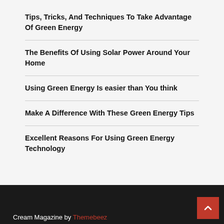Tips, Tricks, And Techniques To Take Advantage Of Green Energy
The Benefits Of Using Solar Power Around Your Home
Using Green Energy Is easier than You think
Make A Difference With These Green Energy Tips
Excellent Reasons For Using Green Energy Technology
Cream Magazine by Themebeez